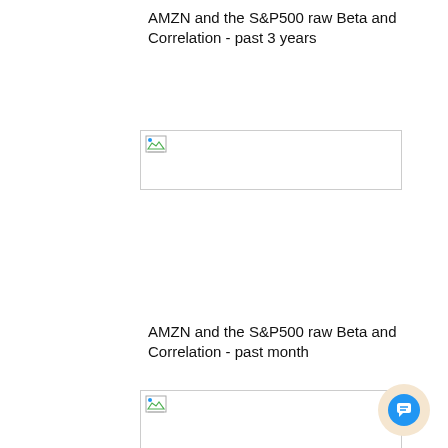AMZN and the S&P500 raw Beta and Correlation - past 3 years
[Figure (other): Broken/loading image placeholder for AMZN and S&P500 raw Beta and Correlation - past 3 years chart]
AMZN and the S&P500 raw Beta and Correlation - past month
[Figure (other): Broken/loading image placeholder for AMZN and S&P500 raw Beta and Correlation - past month chart]